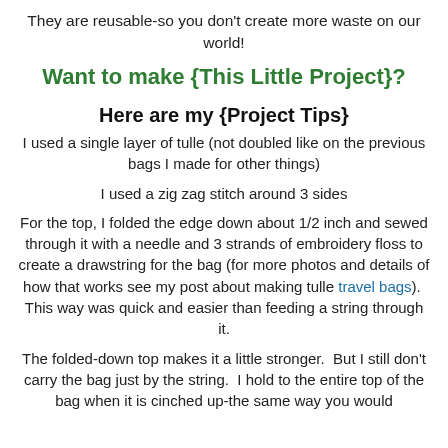They are reusable-so you don't create more waste on our world!
Want to make {This Little Project}?
Here are my {Project Tips}
I used a single layer of tulle (not doubled like on the previous bags I made for other things)
I used a zig zag stitch around 3 sides
For the top, I folded the edge down about 1/2 inch and sewed through it with a needle and 3 strands of embroidery floss to create a drawstring for the bag (for more photos and details of how that works see my post about making tulle travel bags).  This way was quick and easier than feeding a string through it.
The folded-down top makes it a little stronger.  But I still don't carry the bag just by the string.  I hold to the entire top of the bag when it is cinched up-the same way you would